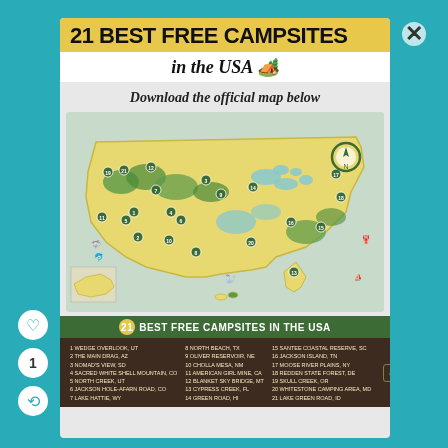21 BEST FREE CAMPSITES
in the USA 🏕️
Download the official map below
[Figure (map): Illustrated map of the USA with 21 numbered campsite locations marked across the country, with decorative nature illustrations]
21 BEST FREE CAMPSITES IN THE USA
1 WEDGE OVERLOOK, UT  2 THE MAIN DRAG, AZ  3 NOMAD'S VIEW, SD  4 SACRED WHITE SHELL MOUNTAIN, CO  5 NORTH CREEK, UT  6 JACKSON HOLE-AFARN ROAD, CO  7 LAKE HATTIE, WY
8 NORTH BEACH, TX  9 OLIVER RESERVOIR, NE  10 CHOLLA MESA, NM  11 AMERICAN GIRL MINE, CA  12 BLANKET SKY BRIDGE, MT  13 CYPRESS CREEK, FL  14 GREEN ROAD, HI
15 SANTEE COASTAL RESERVE, SC  16 JACKSON ISLAND, TN  17 MOOSE RIVER PLAINS, NY  18 REDDEN STATE FOREST, DE  19 SKULL CREEK, OR  20 WHITESTONE CAMPING AREA, MD  21 LAKE GREEN ROAD, ID